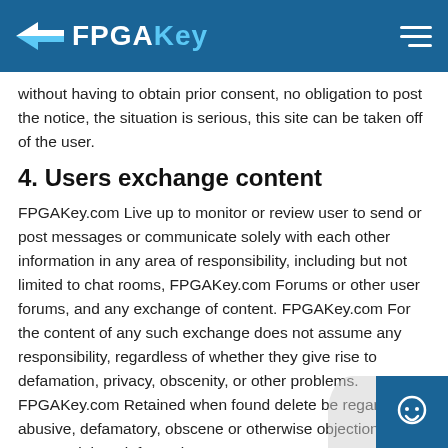FPGAKey
without having to obtain prior consent, no obligation to post the notice, the situation is serious, this site can be taken off of the user.
4. Users exchange content
FPGAKey.com Live up to monitor or review user to send or post messages or communicate solely with each other information in any area of responsibility, including but not limited to chat rooms, FPGAKey.com Forums or other user forums, and any exchange of content. FPGAKey.com For the content of any such exchange does not assume any responsibility, regardless of whether they give rise to defamation, privacy, obscenity, or other problems. FPGAKey.com Retained when found delete be regarded as abusive, defamatory, obscene or otherwise objectionable content right to information.
5. site to download software to